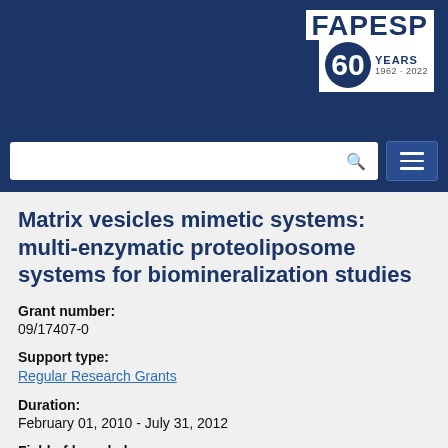[Figure (logo): FAPESP 60 Years logo (1962-2022) on dark blue header]
Matrix vesicles mimetic systems: multi-enzymatic proteoliposome systems for biomineralization studies
Grant number:
09/17407-0
Support type:
Regular Research Grants
Duration:
February 01, 2010 - July 31, 2012
Field of knowledge:
Biological Sciences - Biochemistry - Enzymology
Principal researcher:
Pietro Ciancaglini